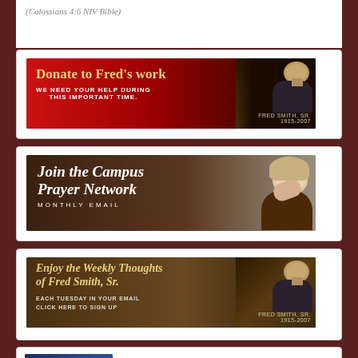(Colossians 4:6 NIV Bible)
[Figure (photo): Red banner ad: Donate to Fred's work - We need your help during this important time. Fred Smith, Sr. 1915-2007]
[Figure (photo): Brown banner ad: Join the Campus Prayer Network - Monthly Email, showing woman praying]
[Figure (photo): Brown banner ad: Enjoy the Weekly Thoughts of Fred Smith, Sr. Each Tuesday in your email - Click Here to Sign Up. Fred Smith, Sr. 1915-2007]
[Figure (photo): Thumbnail with ETL logo next to text: Brenda A. Smith shares a TV Interview about LeTourneau...]